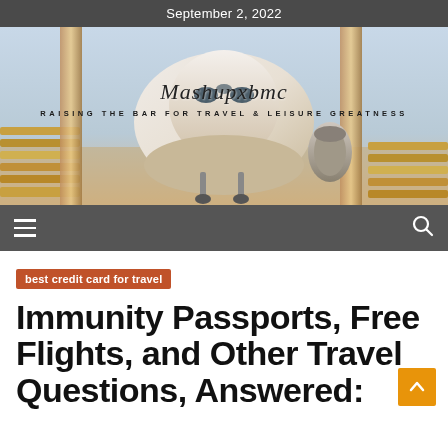September 2, 2022
[Figure (photo): Hero image of a commercial airplane nose-on view with golden/warm lighting, with Mashupxbmc blog logo and tagline overlaid: 'Mashupxbmc' and 'RAISING THE BAR FOR TRAVEL & LEISURE GREATNESS']
Mashupxbmc — RAISING THE BAR FOR TRAVEL & LEISURE GREATNESS
best credit card for travel
Immunity Passports, Free Flights, and Other Travel Questions, Answered: